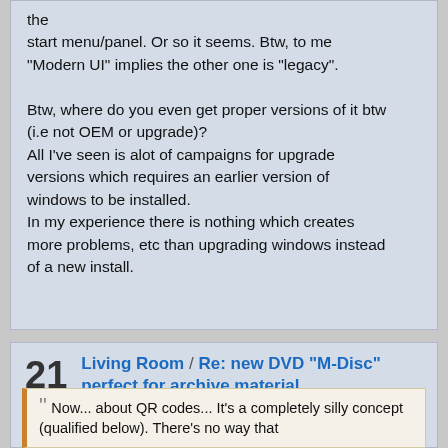the start menu/panel. Or so it seems. Btw, to me "Modern UI" implies the other one is "legacy".

Btw, where do you even get proper versions of it btw (i.e not OEM or upgrade)?
All I've seen is alot of campaigns for upgrade versions which requires an earlier version of windows to be installed.
In my experience there is nothing which creates more problems, etc than upgrading windows instead of a new install.
21
Living Room / Re: new DVD "M-Disc" perfect for archive material
« on: July 20, 2012, 07:59 PM »
"Now... about QR codes... It's a completely silly concept (qualified below). There's no way that